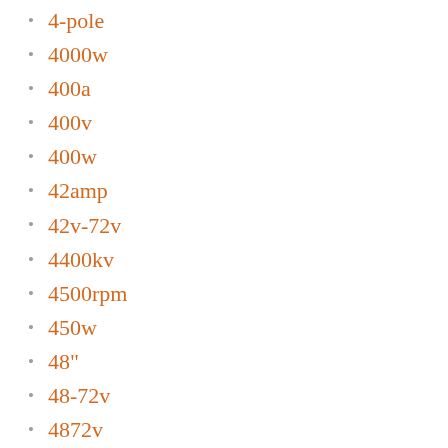4-pole
4000w
400a
400v
400w
42amp
42v-72v
4400kv
4500rpm
450w
48"
48-72v
4872v
48v-72v
48v1000w
4gn30k
4x36v
4xapo-a1